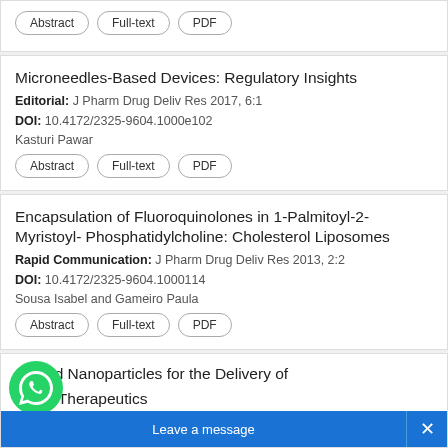[partial top card with buttons: Abstract, Full-text, PDF]
Microneedles-Based Devices: Regulatory Insights
Editorial: J Pharm Drug Deliv Res 2017, 6:1
DOI: 10.4172/2325-9604.1000e102
Kasturi Pawar
Encapsulation of Fluoroquinolones in 1-Palmitoyl-2-Myristoyl- Phosphatidylcholine: Cholesterol Liposomes
Rapid Communication: J Pharm Drug Deliv Res 2013, 2:2
DOI: 10.4172/2325-9604.1000114
Sousa Isabel and Gameiro Paula
[partial] neered Nanoparticles for the Delivery of [C]ancer Therapeutics
Review Article: J Pharm Drug Deliv...
DOI: 10.4172/2325-9604.1000127...